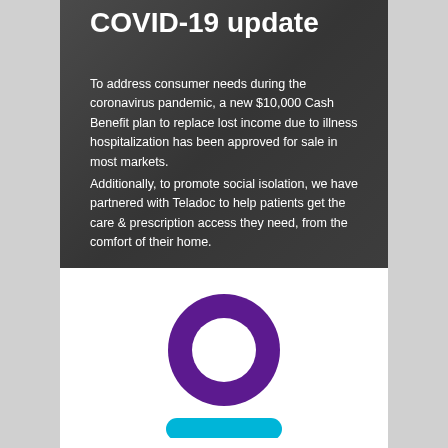COVID-19 update
To address consumer needs during the coronavirus pandemic, a new $10,000 Cash Benefit plan to replace lost income due to illness hospitalization has been approved for sale in most markets.
Additionally, to promote social isolation, we have partnered with Teladoc to help patients get the care & prescription access they need, from the comfort of their home.
[Figure (logo): Purple donut/ring logo with a teal/cyan rectangular bar below it — Teladoc or similar health company logo mark]